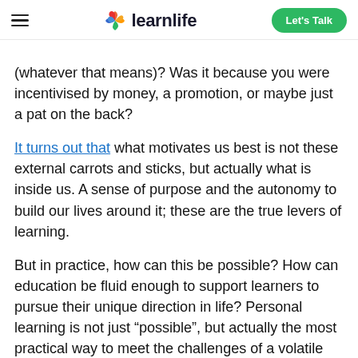learnlife — Let's Talk
(whatever that means)? Was it because you were incentivised by money, a promotion, or maybe just a pat on the back?
It turns out that what motivates us best is not these external carrots and sticks, but actually what is inside us. A sense of purpose and the autonomy to build our lives around it; these are the true levers of learning.
But in practice, how can this be possible? How can education be fluid enough to support learners to pursue their unique direction in life? Personal learning is not just “possible”, but actually the most practical way to meet the challenges of a volatile